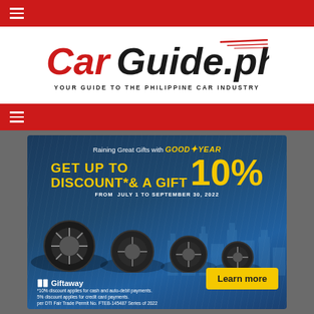☰ (navigation menu)
[Figure (logo): CarGuide.ph logo — 'Car' in red italic, 'Guide.ph' in black bold, with tagline 'YOUR GUIDE TO THE PHILIPPINE CAR INDUSTRY']
☰ (navigation menu)
[Figure (infographic): Goodyear advertisement: 'Raining Great Gifts with Goodyear. GET UP TO 10% DISCOUNT* & A GIFT. FROM JULY 1 TO SEPTEMBER 30, 2022. Learn more. Giftaway. *10% discount applies for cash and auto-debit payments. 5% discount applies for credit card payments. per DTI Fair Trade Permit No. FTEB-145487 Series of 2022']